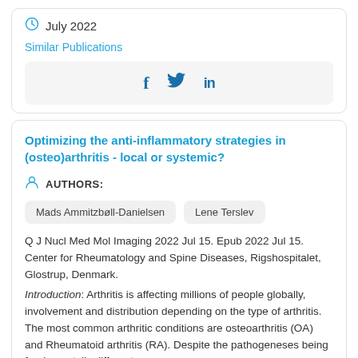July 2022
Similar Publications
[Figure (other): Social sharing icons: Facebook (f), Twitter bird, LinkedIn (in)]
Optimizing the anti-inflammatory strategies in (osteo)arthritis - local or systemic?
AUTHORS:
Mads Ammitzbøll-Danielsen
Lene Terslev
Q J Nucl Med Mol Imaging 2022 Jul 15. Epub 2022 Jul 15. Center for Rheumatology and Spine Diseases, Rigshospitalet, Glostrup, Denmark.
Introduction: Arthritis is affecting millions of people globally, involvement and distribution depending on the type of arthritis. The most common arthritic conditions are osteoarthritis (OA) and Rheumatoid arthritis (RA). Despite the pathogeneses being fundamentally different